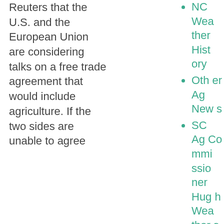Reuters that the U.S. and the European Union are considering talks on a free trade agreement that would include agriculture. If the two sides are unable to agree
NC Weather History
Other Ag News
SC Ag Commissioner Hugh Weathers
SFN Excl